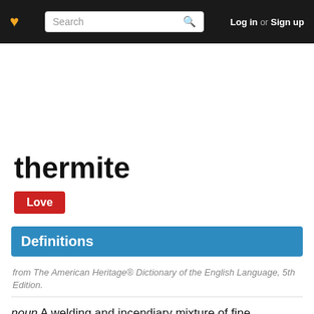Search  Log in or Sign up
thermite
Love
Definitions
from The American Heritage® Dictionary of the English Language, 5th Edition.
noun A welding and incendiary mixture of fine aluminum powder with a metallic oxide, usually